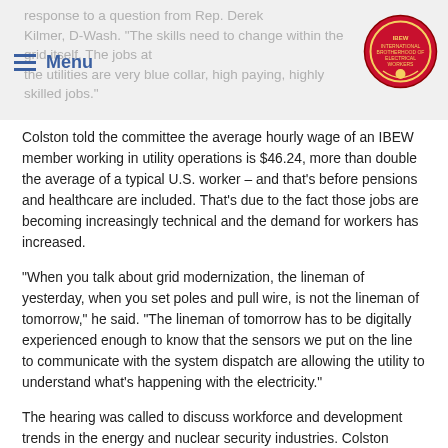response to a question from Rep. Derek Kilmer, D-Wash. "The skills need to change within the grid itself. The jobs at the utilities are very blue collar, high paying, highly skilled jobs."
Colston told the committee the average hourly wage of an IBEW member working in utility operations is $46.24, more than double the average of a typical U.S. worker – and that's before pensions and healthcare are included. That's due to the fact those jobs are becoming increasingly technical and the demand for workers has increased.
“When you talk about grid modernization, the lineman of yesterday, when you set poles and pull wire, is not the lineman of tomorrow,” he said. “The lineman of tomorrow has to be digitally experienced enough to know that the sensors we put on the line to communicate with the system dispatch are allowing the utility to understand what’s happening with the electricity.”
The hearing was called to discuss workforce and development trends in the energy and nuclear security industries. Colston noted the Code of Excellence is used in a partnership between Toledo, Ohio, Local 245 and Toledo Edison – both of which are headquartered within the district of Rep. Marcy Kaptur, D-Ohio, the committee’s chairwoman.
“For more than 10 years, the Code has allowed the IBEW to meet or exceed our customers’ needs,” he said. “The Code has played a part in the creation of employment opportunities for IBEW members because of improved relationships with customers and employers.”